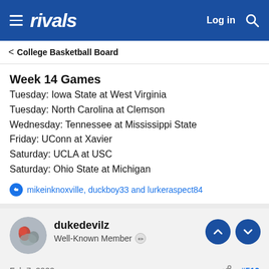rivals  Log in
< College Basketball Board
Week 14 Games
Tuesday: Iowa State at West Virginia
Tuesday: North Carolina at Clemson
Wednesday: Tennessee at Mississippi State
Friday: UConn at Xavier
Saturday: UCLA at USC
Saturday: Ohio State at Michigan
mikeinknoxville, duckboy33 and lurkeraspect84
dukedevilz
Well-Known Member
Feb 7, 2022  #512